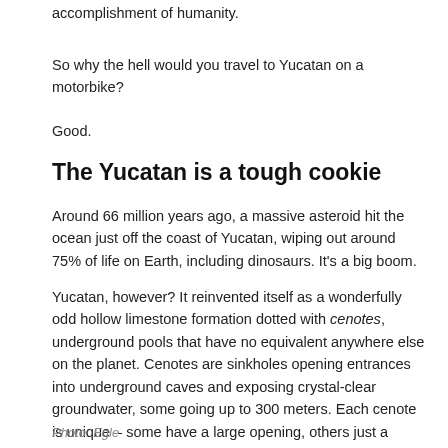accomplishment of humanity.
So why the hell would you travel to Yucatan on a motorbike?
Good.
The Yucatan is a tough cookie
Around 66 million years ago, a massive asteroid hit the ocean just off the coast of Yucatan, wiping out around 75% of life on Earth, including dinosaurs. It’s a big boom.
Yucatan, however? It reinvented itself as a wonderfully odd hollow limestone formation dotted with cenotes, underground pools that have no equivalent anywhere else on the planet. Cenotes are sinkholes opening entrances into underground caves and exposing crystal-clear groundwater, some going up to 300 meters. Each cenote is unique – some have a large opening, others just a mousehole for an entrance; others are still only accessible through another cave.
Photo: Egle